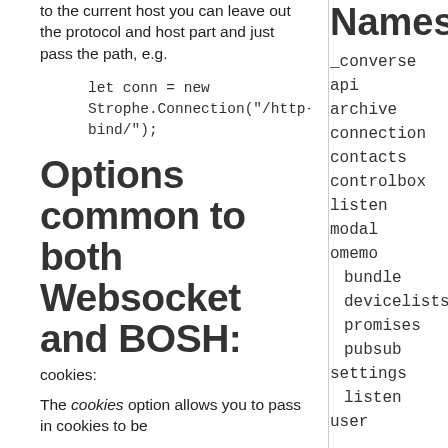to the current host you can leave out the protocol and host part and just pass the path, e.g.
Options common to both Websocket and BOSH:
cookies:
The cookies option allows you to pass in cookies to be
Namespa
_converse
api
archive
connection
contacts
controlbox
listen
modal
omemo
bundle
devicelists
promises
pubsub
settings
listen
user